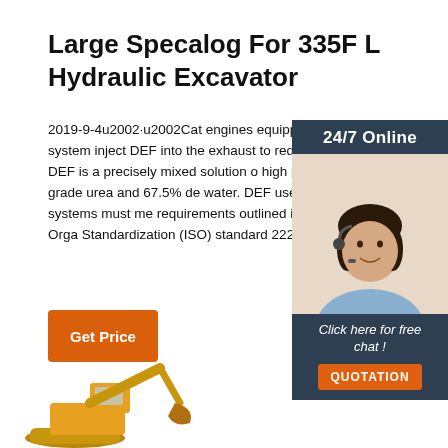Large Specalog For 335F L Hydraulic Excavator
2019-9-4u2002·u2002Cat engines equipped with an SCR system inject DEF into the exhaust to reduce emissions. DEF is a precisely mixed solution of high purity chemical grade urea and 67.5% de water. DEF used in Cat SCR systems must me requirements outlined in the International Orga Standardization (ISO) standard 22241-1.
[Figure (infographic): 24/7 Online chat widget with woman wearing headset, orange QUOTATION button, and 'Click here for free chat!' text on dark blue background]
[Figure (photo): Orange Caterpillar 335F L hydraulic excavator at bottom of page]